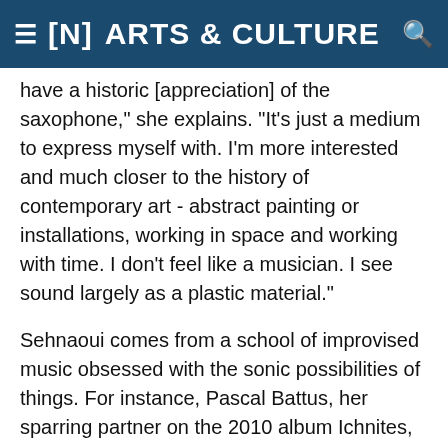[N] ARTS & CULTURE
have a historic [appreciation] of the saxophone," she explains. "It's just a medium to express myself with. I'm more interested and much closer to the history of contemporary art - abstract painting or installations, working in space and working with time. I don't feel like a musician. I see sound largely as a plastic material."
Sehnaoui comes from a school of improvised music obsessed with the sonic possibilities of things. For instance, Pascal Battus, her sparring partner on the 2010 album Ichnites, uses the motors of old Walkmans to vibrate sheets of paper and cardboard, pieces of